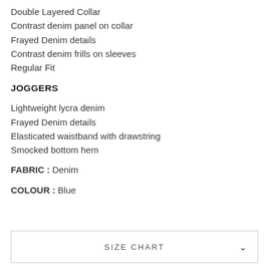Double Layered Collar
Contrast denim panel on collar
Frayed Denim details
Contrast denim frills on sleeves
Regular Fit
JOGGERS
Lightweight lycra denim
Frayed Denim details
Elasticated waistband with drawstring
Smocked bottom hem
FABRIC : Denim
COLOUR : Blue
SIZE CHART